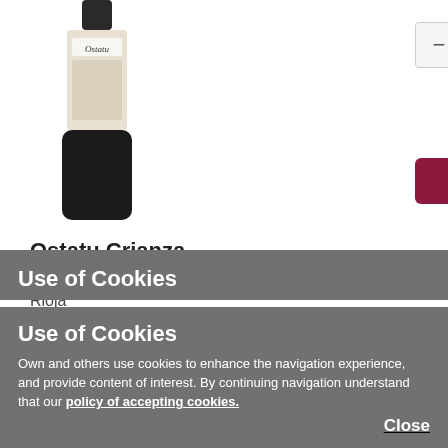[Figure (illustration): Wine bottle of Ostatu Crianza, partially shown from top, with label reading Ostatu]
[Figure (illustration): Quantity selector control showing minus button, 0, and plus button]
ADD
Ostatu Crianza
0,75L
Rioja
more info
[Figure (illustration): Second wine bottle of Ostatu Crianza shown from top portion]
1   7.2 £/btl
6   7 £/btl
Use of Cookies
Own and others use cookies to enhance the navigation experience, and provide content of interest. By continuing navigation understand that our policy of accepting cookies.
Close